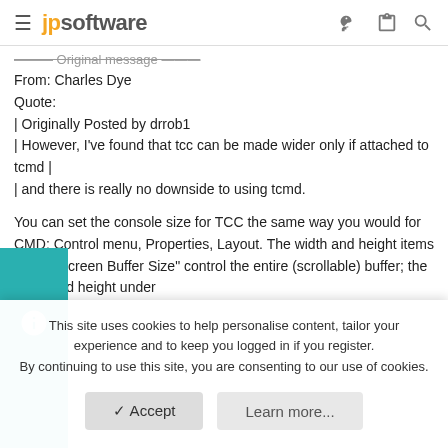jpsoftware
Original message
From: Charles Dye
Quote:
| Originally Posted by drrob1
| However, I've found that tcc can be made wider only if attached to tcmd |
| and there is really no downside to using tcmd.
You can set the console size for TCC the same way you would for CMD: Control menu, Properties, Layout. The width and height items under "Screen Buffer Size" control the entire (scrollable) buffer; the width and height under
This site uses cookies to help personalise content, tailor your experience and to keep you logged in if you register.
By continuing to use this site, you are consenting to our use of cookies.